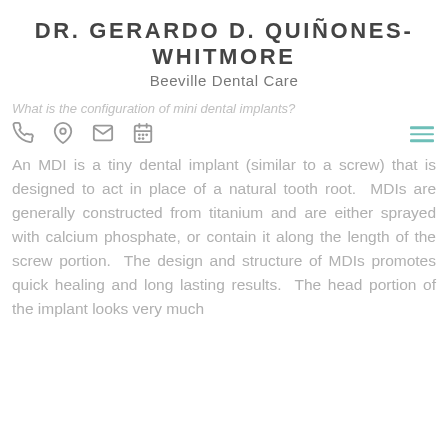DR. GERARDO D. QUIÑONES-WHITMORE
Beeville Dental Care
What is the configuration of mini dental implants?
An MDI is a tiny dental implant (similar to a screw) that is designed to act in place of a natural tooth root.  MDIs are generally constructed from titanium and are either sprayed with calcium phosphate, or contain it along the length of the screw portion.  The design and structure of MDIs promotes quick healing and long lasting results.  The head portion of the implant looks very much